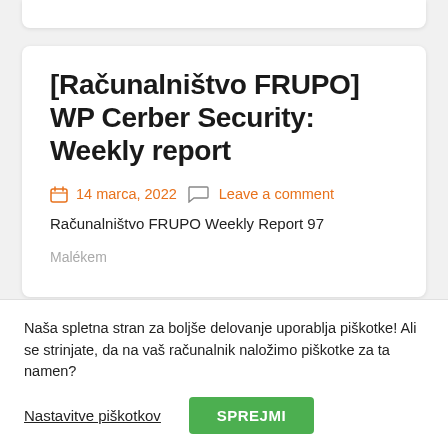[Računalništvo FRUPO] WP Cerber Security: Weekly report
14 marca, 2022  Leave a comment
Računalništvo FRUPO Weekly Report 97
Naša spletna stran za boljše delovanje uporablja piškotke! Ali se strinjate, da na vaš računalnik naložimo piškotke za ta namen?
Nastavitve piškotkov
SPREJMI